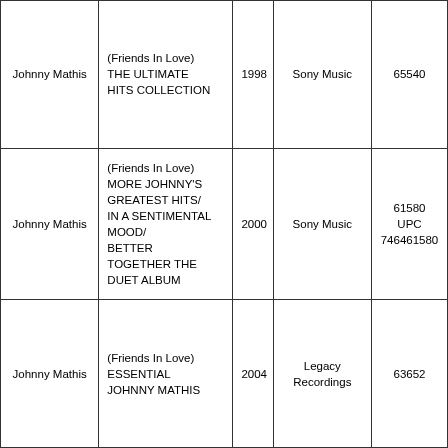| Johnny Mathis | (Friends In Love) THE ULTIMATE HITS COLLECTION | 1998 | Sony Music | 65540 |
| Johnny Mathis | (Friends In Love) MORE JOHNNY'S GREATEST HITS/ IN A SENTIMENTAL MOOD/ BETTER TOGETHER THE DUET ALBUM | 2000 | Sony Music | 61580 UPC 746461580 |
| Johnny Mathis | (Friends In Love) ESSENTIAL JOHNNY MATHIS | 2004 | Legacy Recordings | 63652 |